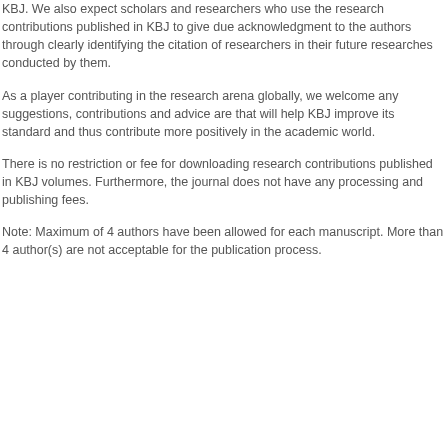KBJ. We also expect scholars and researchers who use the research contributions published in KBJ to give due acknowledgment to the authors through clearly identifying the citation of researchers in their future researches conducted by them.
As a player contributing in the research arena globally, we welcome any suggestions, contributions and advice are that will help KBJ improve its standard and thus contribute more positively in the academic world.
There is no restriction or fee for downloading research contributions published in KBJ volumes. Furthermore, the journal does not have any processing and publishing fees.
Note: Maximum of 4 authors have been allowed for each manuscript. More than 4 author(s) are not acceptable for the publication process.